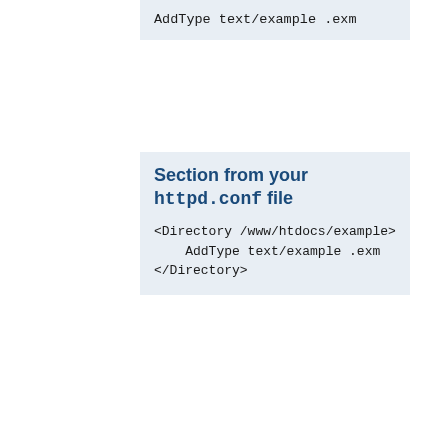AddType text/example .exm
Section from your httpd.conf file
<Directory /www/htdocs/example>
    AddType text/example .exm
</Directory>
However, putting this configuration in your server configuration file will result in less of a performance hit, as the configuration is loaded once when Apache starts, rather than every time a file is requested.